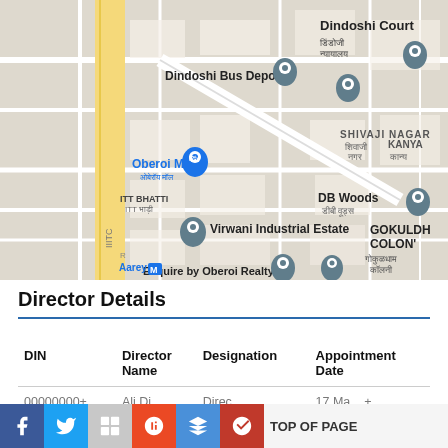[Figure (map): Google Maps screenshot showing area around Dindoshi Court, Dindoshi Bus Depot, Oberoi Mall, Virwani Industrial Estate, Esquire by Oberoi Realty, DB Woods, Gokuldhama Colony, ITT Bhatti, Shivaji Nagar, Kanya area in Mumbai.]
Director Details
| DIN | Director Name | Designation | Appointment Date |
| --- | --- | --- | --- |
| 00000000+ | Ali Di... | Direc... | 17 Ma... + |